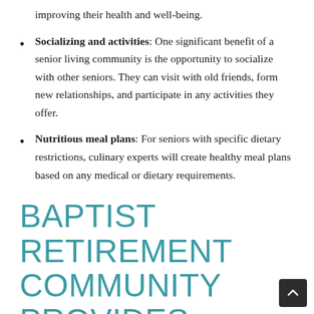improving their health and well-being.
Socializing and activities: One significant benefit of a senior living community is the opportunity to socialize with other seniors. They can visit with old friends, form new relationships, and participate in any activities they offer.
Nutritious meal plans: For seniors with specific dietary restrictions, culinary experts will create healthy meal plans based on any medical or dietary requirements.
BAPTIST RETIREMENT COMMUNITY PROVIDES COMPASSIONATE RESPITE CARE IN SAN ANGELO, TX